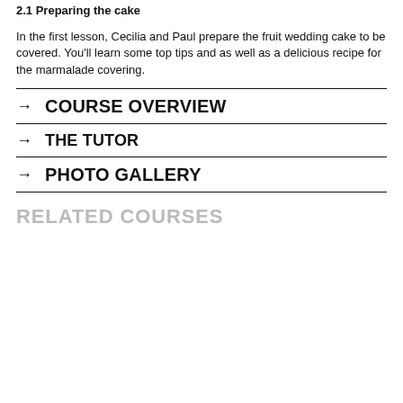2.1 Preparing the cake
In the first lesson, Cecilia and Paul prepare the fruit wedding cake to be covered. You'll learn some top tips and as well as a delicious recipe for the marmalade covering.
→  COURSE OVERVIEW
→  THE TUTOR
→  PHOTO GALLERY
RELATED COURSES